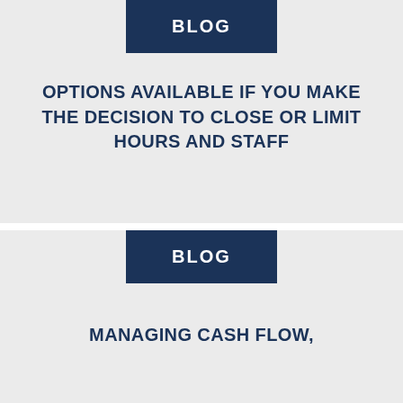BLOG
OPTIONS AVAILABLE IF YOU MAKE THE DECISION TO CLOSE OR LIMIT HOURS AND STAFF
BLOG
MANAGING CASH FLOW,